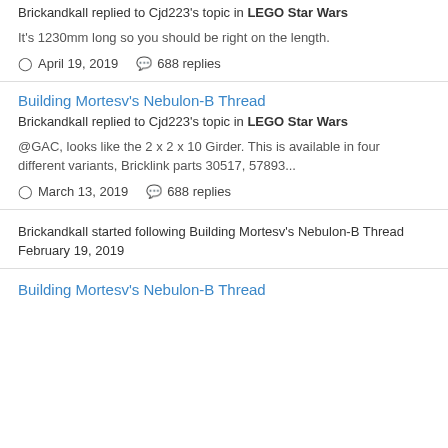Brickandkall replied to Cjd223's topic in LEGO Star Wars
It's 1230mm long so you should be right on the length.
April 19, 2019   688 replies
Building Mortesv's Nebulon-B Thread
Brickandkall replied to Cjd223's topic in LEGO Star Wars
@GAC, looks like the 2 x 2 x 10 Girder. This is available in four different variants, Bricklink parts 30517, 57893...
March 13, 2019   688 replies
Brickandkall started following Building Mortesv's Nebulon-B Thread
February 19, 2019
Building Mortesv's Nebulon-B Thread